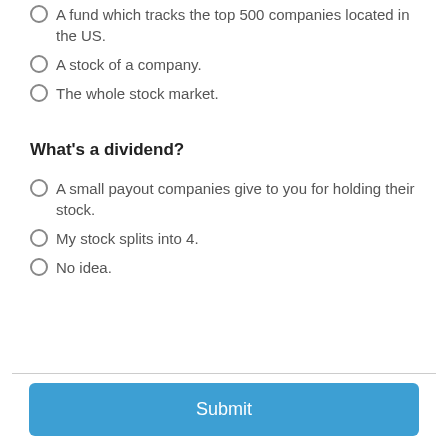A fund which tracks the top 500 companies located in the US.
A stock of a company.
The whole stock market.
What's a dividend?
A small payout companies give to you for holding their stock.
My stock splits into 4.
No idea.
Submit